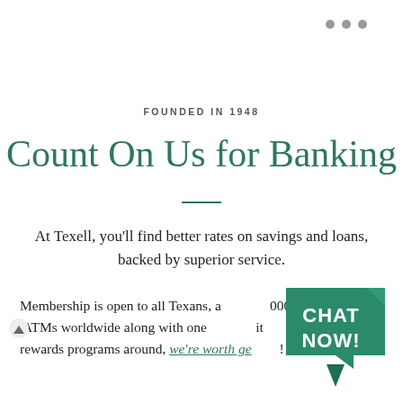• • •
FOUNDED IN 1948
Count On Us for Banking
At Texell, you'll find better rates on savings and loans, backed by superior service.
Membership is open to all Texans, a...000+ ATMs worldwide along with one...it rewards programs around, we're worth ge...!
[Figure (other): Green chat now badge/button overlay in bottom right corner]